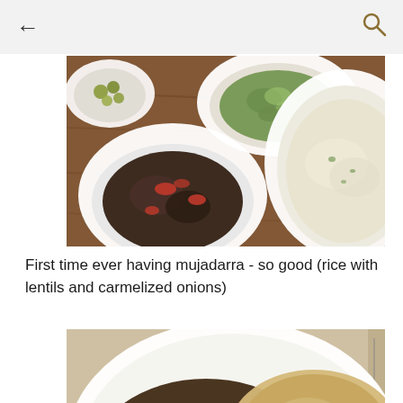← (back) and 🔍 (search) navigation icons
[Figure (photo): Overhead view of several white bowls on a wooden table containing Lebanese mezze dishes: marinated eggplant with red peppers, tabbouleh salad, hummus, and a white creamy dip/yogurt sauce]
First time ever having mujadarra - so good (rice with lentils and carmelized onions)
[Figure (photo): Close-up of a white plate with mujadarra: rice with lentils topped with caramelized onions, served alongside grilled chicken with herbs]